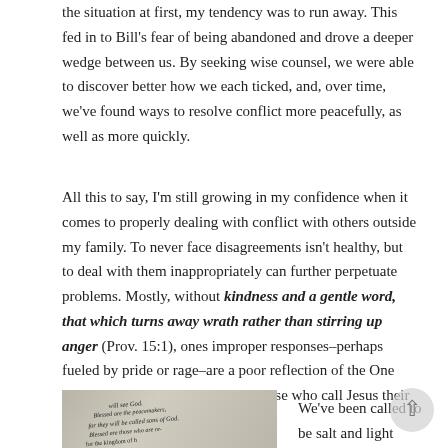the situation at first, my tendency was to run away. This fed in to Bill’s fear of being abandoned and drove a deeper wedge between us. By seeking wise counsel, we were able to discover better how we each ticked, and, over time, we’ve found ways to resolve conflict more peacefully, as well as more quickly.
All this to say, I’m still growing in my confidence when it comes to properly dealing with conflict with others outside my family. To never face disagreements isn’t healthy, but to deal with them inappropriately can further perpetuate problems. Mostly, without kindness and a gentle word, that which turns away wrath rather than stirring up anger (Prov. 15:1), ones improper responses–perhaps fueled by pride or rage–are a poor reflection of the One who lives in and shines through those who call Jesus their Savior.
[Figure (photo): Photo of an open Bible showing text from the Beatitudes, including 'Blessed are the peacemakers, for they will be called sons of God. Blessed are those who are...' text visible on the page.]
We’ve been called to be salt and light